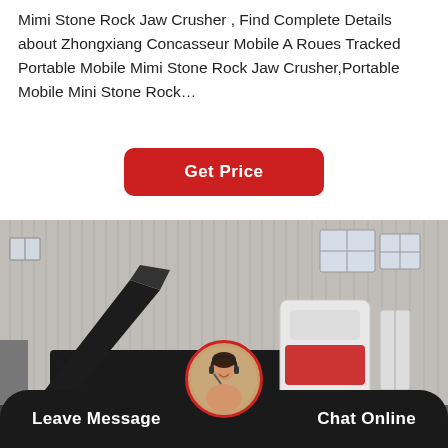Mimi Stone Rock Jaw Crusher , Find Complete Details about Zhongxiang Concasseur Mobile A Roues Tracked Portable Mobile Mimi Stone Rock Jaw Crusher,Portable Mobile Mini Stone Rock…
Get Price
[Figure (photo): Photo of a large tracked mobile stone crusher/jaw crusher machine in an industrial facility. The machine is black and white, mounted on tracked undercarriage. Background shows a grey corrugated metal industrial building.]
Leave Message   Chat Online